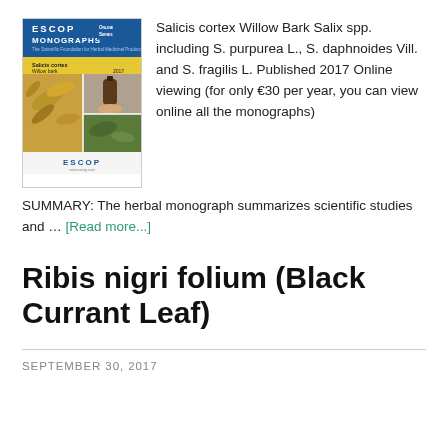[Figure (illustration): ESCOP Monographs book cover featuring Salicis cortex / Willow Bark, with plant and botanical bottle photos, ESCOP Online Series branding]
Salicis cortex Willow Bark Salix spp. including S. purpurea L., S. daphnoides Vill. and S. fragilis L. Published 2017 Online viewing (for only €30 per year, you can view online all the monographs) SUMMARY: The herbal monograph summarizes scientific studies and … [Read more...]
Ribis nigri folium (Black Currant Leaf)
SEPTEMBER 30, 2017